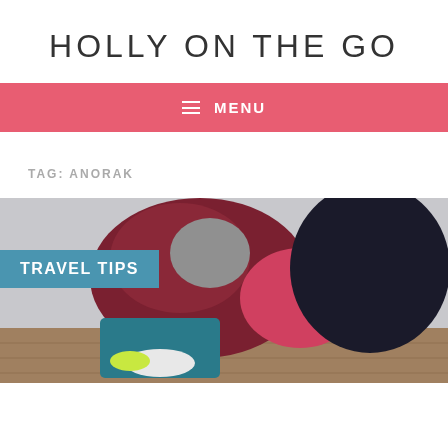HOLLY ON THE GO
≡ MENU
TAG: ANORAK
[Figure (photo): Person sitting outdoors wearing a dark red/maroon anorak jacket and teal pants with white sneakers, holding a backpack. Background shows a wooden deck surface.]
TRAVEL TIPS